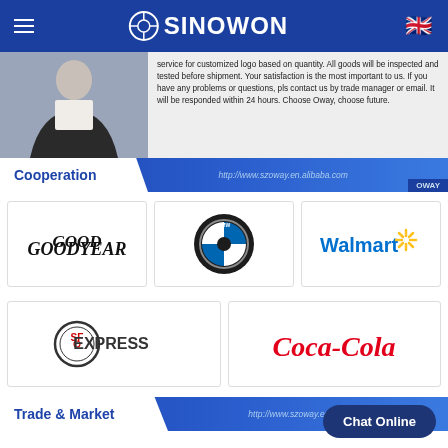Sinowon - menu, logo, language flag
service for customized logo based on quantity. All goods will be inspected and tested before shipment. Your satisfaction is the most important to us. If you have any problems or questions, pls contact us by trade manager or email. It will be responded within 24 hours. Choose Oway, choose future.
Cooperation
[Figure (logo): Goodyear logo]
[Figure (logo): BMW logo]
[Figure (logo): Walmart logo]
[Figure (logo): SF Express logo]
[Figure (logo): Coca-Cola logo]
Trade & Market